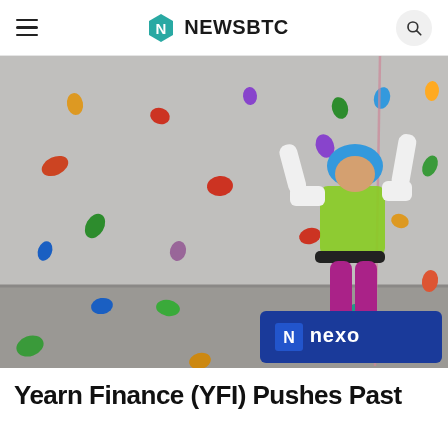NewsBTC
[Figure (photo): A person wearing a green vest, pink pants and blue helmet climbing an indoor rock climbing wall with colorful holds. A Nexo advertisement banner is visible in the lower right corner of the image.]
Yearn Finance (YFI) Pushes Past